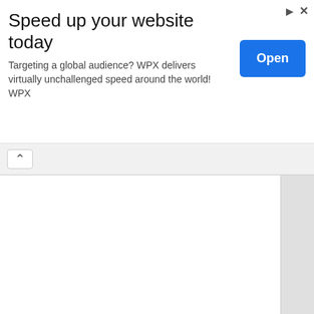[Figure (other): Advertisement banner: 'Speed up your website today' with subtitle 'Targeting a global audience? WPX delivers virtually unchallenged speed around the world! WPX' and an 'Open' button. Ad attribution icons (arrow and X) in top right.]
http://www.10...
XHTO (Rhythm... 104.3 "Hit" FM... El Paso, TX www.hitfmrad... MediaBase Re... 915-541-1043... Text: 82536
El Paso, KSII 9... Request Line:... http://www.ks...
El Paso, KPRR... Request Line:... http://www.kp...
Harlingen, KBI... Toll Free R...